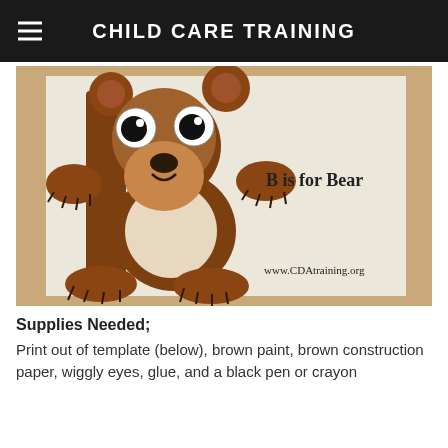CHILD CARE TRAINING
[Figure (photo): A child's craft project showing the letter B decorated as a bear with googly eyes, brown paint, construction paper paws and ears. Text on the image reads 'B is for Bear' and 'www.CDAtraining.org']
Supplies Needed;
Print out of template (below), brown paint, brown construction paper, wiggly eyes, glue, and a black pen or crayon